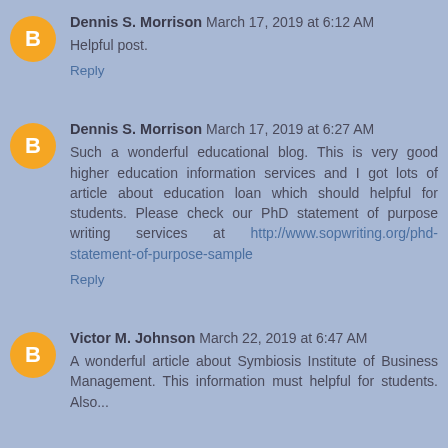Dennis S. Morrison March 17, 2019 at 6:12 AM
Helpful post.
Reply
Dennis S. Morrison March 17, 2019 at 6:27 AM
Such a wonderful educational blog. This is very good higher education information services and I got lots of article about education loan which should helpful for students. Please check our PhD statement of purpose writing services at http://www.sopwriting.org/phd-statement-of-purpose-sample
Reply
Victor M. Johnson March 22, 2019 at 6:47 AM
A wonderful article about Symbiosis Institute of Business Management. This information must helpful for students. Also...